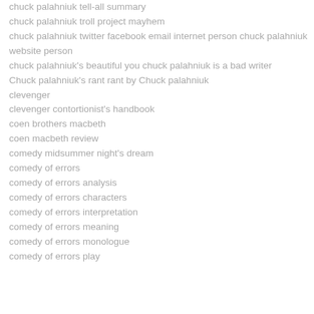chuck palahniuk tell-all summary
chuck palahniuk troll project mayhem
chuck palahniuk twitter facebook email internet person chuck palahniuk website person
chuck palahniuk's beautiful you chuck palahniuk is a bad writer
Chuck palahniuk's rant rant by Chuck palahniuk
clevenger
clevenger contortionist's handbook
coen brothers macbeth
coen macbeth review
comedy midsummer night's dream
comedy of errors
comedy of errors analysis
comedy of errors characters
comedy of errors interpretation
comedy of errors meaning
comedy of errors monologue
comedy of errors play